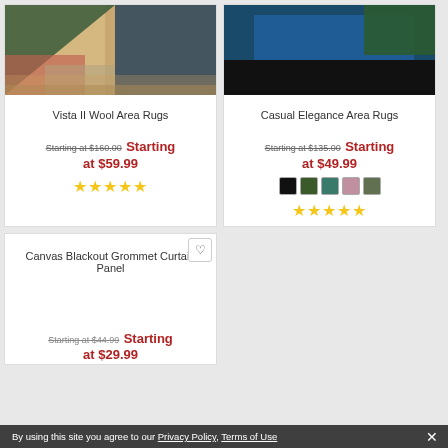[Figure (photo): Vista II Wool Area Rugs product photo showing colorful geometric wool rug on hardwood floor]
Vista II Wool Area Rugs
Starting at $160.00 Starting at $59.99
[Figure (photo): Casual Elegance Area Rugs product photo showing dark blue/black rugs stacked]
Casual Elegance Area Rugs
Starting at $135.00 Starting at $49.99
[Figure (photo): Canvas Blackout Grommet Curtain Panel product listing with wishlist heart icon]
Canvas Blackout Grommet Curtain Panel
Starting at $44.99 Starting at $29.99
By using this site you agree to our Privacy Policy, Terms of Use